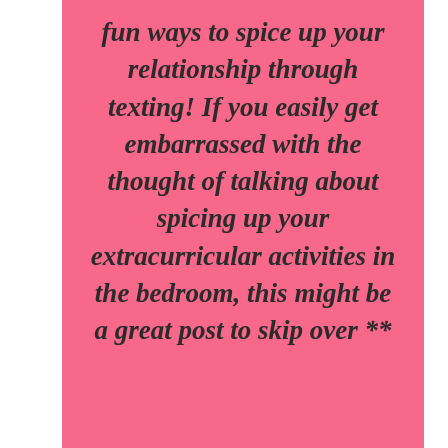[Figure (infographic): Pink background card with italic bold text reading: 'fun ways to spice up your relationship through texting! If you easily get embarrassed with the thought of talking about spicing up your extracurricular activities in the bedroom, this might be a great post to skip over **']
fun ways to spice up your relationship through texting! If you easily get embarrassed with the thought of talking about spicing up your extracurricular activities in the bedroom, this might be a great post to skip over **
3.3K
WHAT'S NEXT → 21 Fun Ideas to Spice Up...